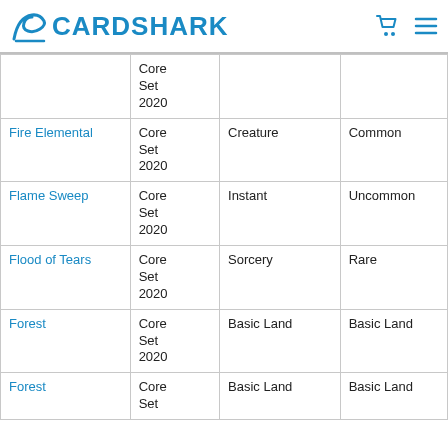CARDSHARK
| Name | Set | Type | Rarity |
| --- | --- | --- | --- |
|  | Core Set 2020 |  |  |
| Fire Elemental | Core Set 2020 | Creature | Common |
| Flame Sweep | Core Set 2020 | Instant | Uncommon |
| Flood of Tears | Core Set 2020 | Sorcery | Rare |
| Forest | Core Set 2020 | Basic Land | Basic Land |
| Forest | Core Set 2020 (partial) | Basic Land | Basic Land |